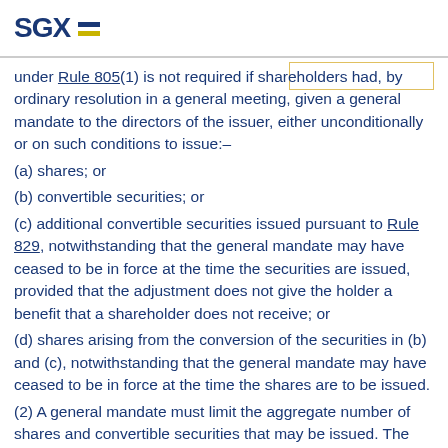SGX
under Rule 805(1) is not required if shareholders had, by ordinary resolution in a general meeting, given a general mandate to the directors of the issuer, either unconditionally or on such conditions to issue:–
(a) shares; or
(b) convertible securities; or
(c) additional convertible securities issued pursuant to Rule 829, notwithstanding that the general mandate may have ceased to be in force at the time the securities are issued, provided that the adjustment does not give the holder a benefit that a shareholder does not receive; or
(d) shares arising from the conversion of the securities in (b) and (c), notwithstanding that the general mandate may have ceased to be in force at the time the shares are to be issued.
(2) A general mandate must limit the aggregate number of shares and convertible securities that may be issued. The limit